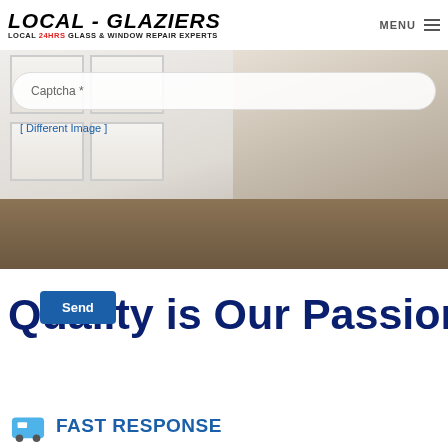LOCAL - GLAZIERS | LOCAL 24HRS GLASS & WINDOW REPAIR EXPERTS | MENU
[Figure (photo): Background photo of a white interior door with wooden floor, showing door panels and flooring with CAPTCHA form overlay]
Captcha *
[ Different Image ]
Send
Quality is Our Passion
FAST RESPONSE